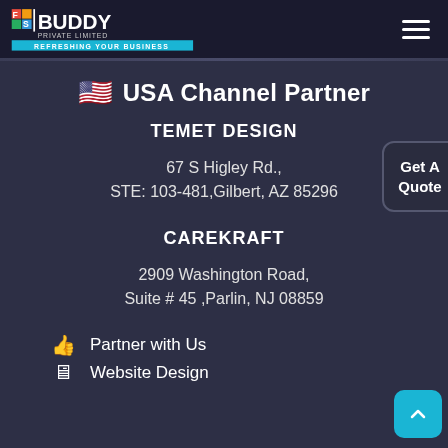FS Buddy Private Limited — REFRESHING YOUR BUSINESS
🇺🇸 USA Channel Partner
TEMET DESIGN
67 S Higley Rd.,
STE: 103-481,Gilbert, AZ 85296
CAREKRAFT
2909 Washington Road,
Suite # 45 ,Parlin, NJ 08859
👍 Partner with Us
🖥 Website Design